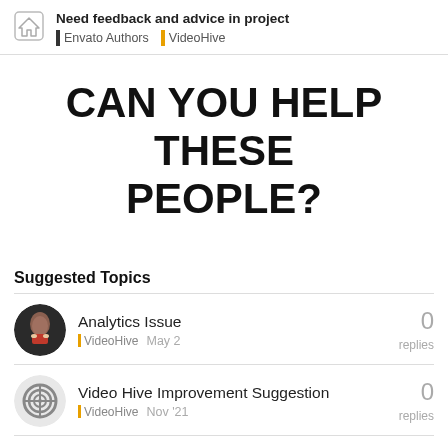Need feedback and advice in project | Envato Authors | VideoHive
CAN YOU HELP THESE PEOPLE?
Suggested Topics
Analytics Issue - VideoHive - May 2 - 0 replies
Video Hive Improvement Suggestion - VideoHive - Nov '21 - 0 replies
Explainer toolkit - looking for a